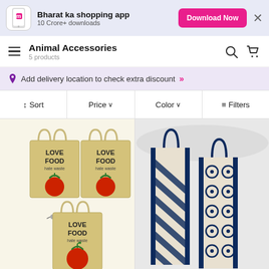Bharat ka shopping app — 10 Crore+ downloads — Download Now
Animal Accessories — 5 products
Add delivery location to check extra discount »
↕ Sort | Price ∨ | Color ∨ | ≡ Filters
[Figure (photo): Three jute tote bags with 'LOVE FOOD hate waste' text and tomato graphic, stacked arrangement]
[Figure (photo): Two tall narrow bottle carrier bags in navy blue with geometric patterns (zigzag and circle designs)]